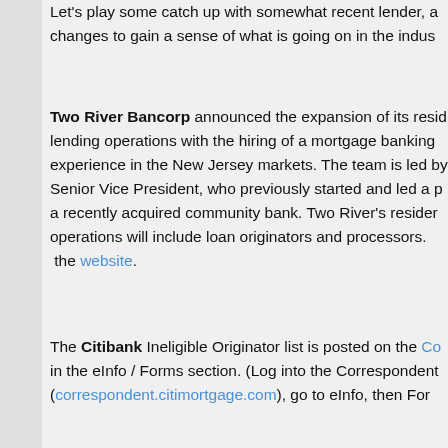Let's play some catch up with somewhat recent lender, a… changes to gain a sense of what is going on in the indus…
Two River Bancorp announced the expansion of its residential lending operations with the hiring of a mortgage banking experience in the New Jersey markets. The team is led by Senior Vice President, who previously started and led a p… a recently acquired community bank. Two River's residen… operations will include loan originators and processors. … the website.
The Citibank Ineligible Originator list is posted on the Co… in the eInfo / Forms section. (Log into the Correspondent (correspondent.citimortgage.com), go to eInfo, then Form…